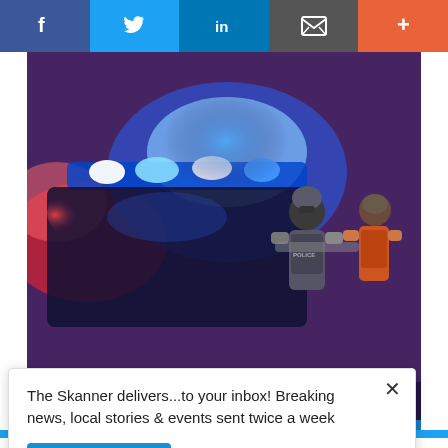Social share bar: Facebook, Twitter, LinkedIn, Email, More
[Figure (photo): Night scene with police officers standing near a police car with red and blue flashing lights]
The Skanner delivers...to your inbox! Breaking news, local stories & events sent twice a week
Subscribe
[Figure (photo): Advertisement for Autobuses Lucano - SERVICIO DE PAQUETERÍA - 832-798-9608, showing a bus and cardboard boxes]